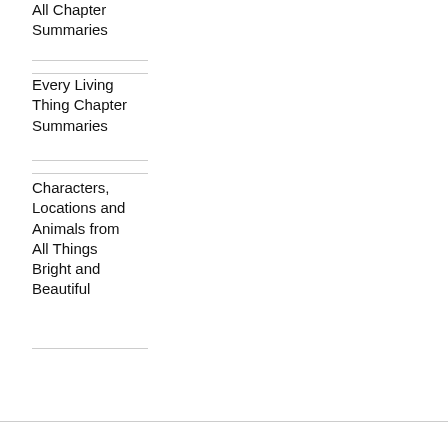All Chapter Summaries
Every Living Thing Chapter Summaries
Characters, Locations and Animals from All Things Bright and Beautiful